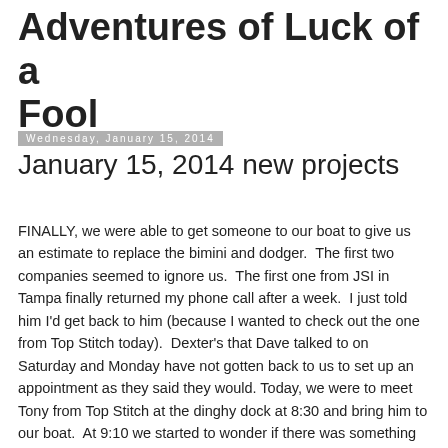Adventures of Luck of a Fool
Wednesday, January 15, 2014
January 15, 2014 new projects
FINALLY, we were able to get someone to our boat to give us an estimate to replace the bimini and dodger.  The first two companies seemed to ignore us.  The first one from JSI in Tampa finally returned my phone call after a week.  I just told him I'd get back to him (because I wanted to check out the one from Top Stitch today).  Dexter's that Dave talked to on Saturday and Monday have not gotten back to us to set up an appointment as they said they would. Today, we were to meet Tony from Top Stitch at the dinghy dock at 8:30 and bring him to our boat.  At 9:10 we started to wonder if there was something wrong with us, but we called anyway.  The person Dave talked to Monday evidently didn't tell Tony.  But he came right over.